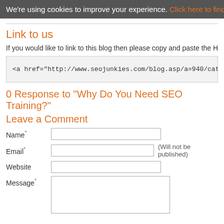We're using cookies to improve your experience. Click here to find o
Link to us
If you would like to link to this blog then please copy and paste the HTML code be
<a href="http://www.seojunkies.com/blog.asp/a=940/cat=11/Why-Do-You-Nee
0 Response to "Why Do You Need SEO Training?"
Leave a Comment
Name* [input] Email* [input] (Will not be published) Website [input] Message* [textarea]